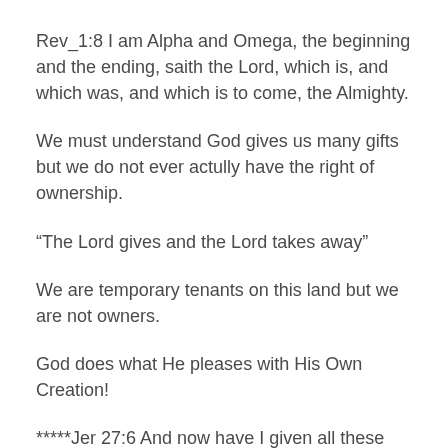Rev_1:8 I am Alpha and Omega, the beginning and the ending, saith the Lord, which is, and which was, and which is to come, the Almighty.
We must understand God gives us many gifts but we do not ever actully have the right of ownership.
“The Lord gives and the Lord takes away”
We are temporary tenants on this land but we are not owners.
God does what He pleases with His Own Creation!
*****Jer 27:6 And now have I given all these lands into the hand of Nebuchadnezzar the king of Babylon, my